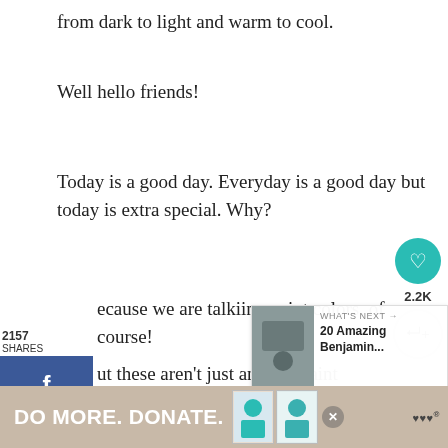from dark to light and warm to cool.
Well hello friends!
Today is a good day. Everyday is a good day but today is extra special. Why?
Because we are talkiing paint colors, of course!
But these aren't just any old paint colors.
The other day, while going through my Benjamin Moore and Sherwin Williams paint decks, I discovered that there are some truly amazing p...
[Figure (infographic): Social share sidebar with Facebook, Twitter, Pinterest buttons showing 2157 shares]
[Figure (infographic): Right-side heart icon (teal circle) with 2.2K count and share icon]
[Figure (infographic): What's Next overlay showing image thumbnail and text '20 Amazing Benjamin...']
[Figure (infographic): Bottom ad bar with 'DO MORE. DONATE.' text, images, close button, and logo]